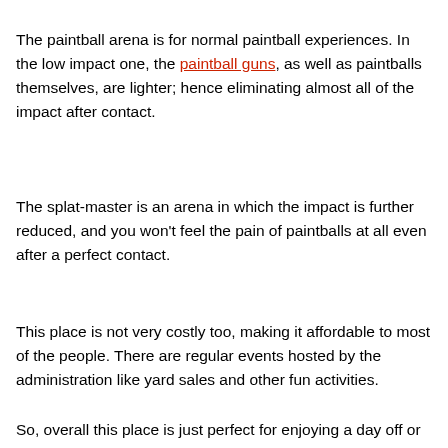The paintball arena is for normal paintball experiences. In the low impact one, the paintball guns, as well as paintballs themselves, are lighter; hence eliminating almost all of the impact after contact.
The splat-master is an arena in which the impact is further reduced, and you won't feel the pain of paintballs at all even after a perfect contact.
This place is not very costly too, making it affordable to most of the people. There are regular events hosted by the administration like yard sales and other fun activities.
So, overall this place is just perfect for enjoying a day off or